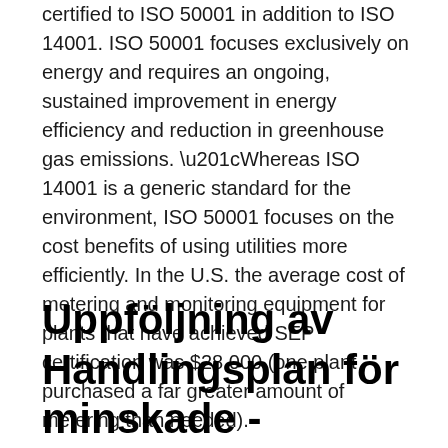certified to ISO 50001 in addition to ISO 14001. ISO 50001 focuses exclusively on energy and requires an ongoing, sustained improvement in energy efficiency and reduction in greenhouse gas emissions. “Whereas ISO 14001 is a generic standard for the environment, ISO 50001 focuses on the cost benefits of using utilities more efficiently. In the U.S. the average cost of metering and monitoring equipment for plants that have achieved SEP certification was $28,000 (one plant purchased a far greater amount of metering than needed).
Uppföljning av Handlingsplan för minskade - Swedavia